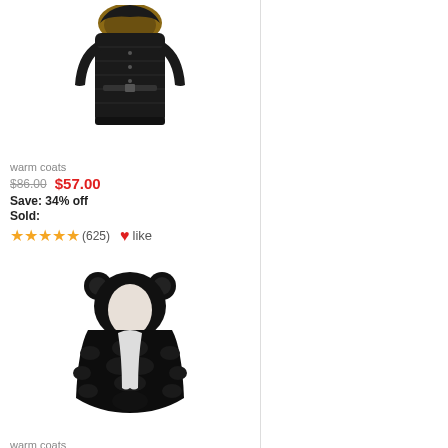[Figure (photo): Black women's quilted puffer coat with fur-trimmed hood, belted waist, shown on a model]
warm coats
$86.00  $57.00
Save: 34% off
Sold:
★★★★★ (625)   ♥like
[Figure (photo): Black faux fur coat with bear ear hood, fluffy texture, shown on white background]
warm coats
$100.00  $67.00
Save: 33% off